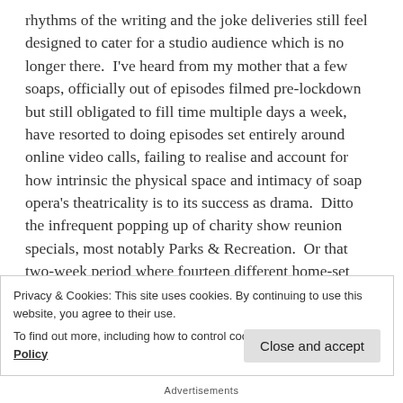rhythms of the writing and the joke deliveries still feel designed to cater for a studio audience which is no longer there.  I've heard from my mother that a few soaps, officially out of episodes filmed pre-lockdown but still obligated to fill time multiple days a week, have resorted to doing episodes set entirely around online video calls, failing to realise and account for how intrinsic the physical space and intimacy of soap opera's theatricality is to its success as drama.  Ditto the infrequent popping up of charity show reunion specials, most notably Parks & Recreation.  Or that two-week period where fourteen different home-set live music telethons popped up at once and everyone put
Privacy & Cookies: This site uses cookies. By continuing to use this website, you agree to their use.
To find out more, including how to control cookies, see here: Cookie Policy
Close and accept
Advertisements